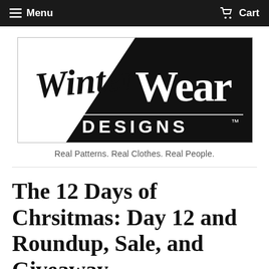Menu  Cart
[Figure (logo): Winter Wear Designs logo — script-style 'Winter Wear' text over black-and-white split background with 'DESIGNS TM' in block capitals below]
Real Patterns. Real Clothes. Real People.
The 12 Days of Chrsitmas: Day 12 and Roundup, Sale, and Giveaway